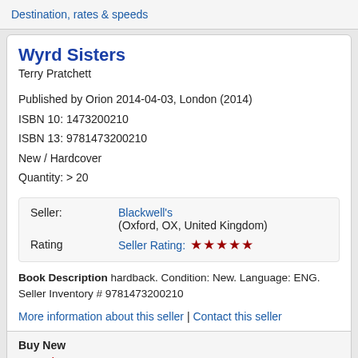Destination, rates & speeds
Wyrd Sisters
Terry Pratchett
Published by Orion 2014-04-03, London (2014)
ISBN 10: 1473200210
ISBN 13: 9781473200210
New / Hardcover
Quantity: > 20
Seller: Blackwell's (Oxford, OX, United Kingdom)
Rating  Seller Rating: ★★★★★
Book Description hardback. Condition: New. Language: ENG. Seller Inventory # 9781473200210
More information about this seller | Contact this seller
Buy New
US$ 13.76